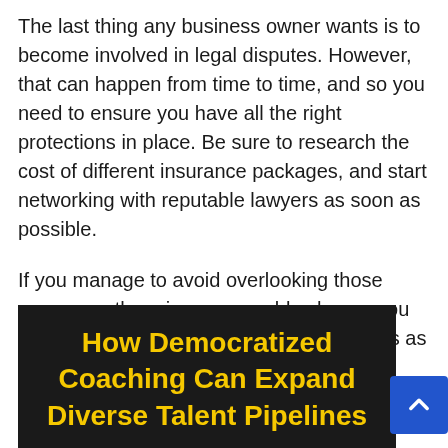The last thing any business owner wants is to become involved in legal disputes. However, that can happen from time to time, and so you need to ensure you have all the right protections in place. Be sure to research the cost of different insurance packages, and start networking with reputable lawyers as soon as possible.
If you manage to avoid overlooking those expenses, there is a reasonable chance you won't encounter too many stumbling blocks as you launch your new operation.
[Figure (infographic): Dark banner with yellow bold text reading 'How Democratized Coaching Can Expand Diverse Talent Pipelines']